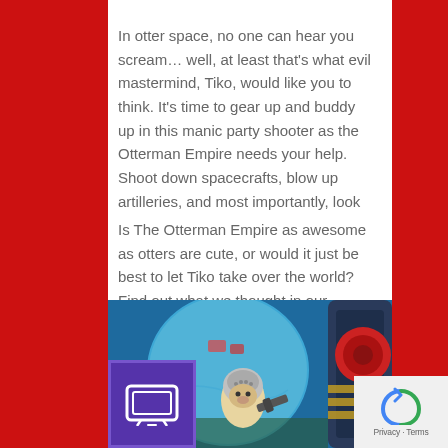In otter space, no one can hear you scream… well, at least that's what evil mastermind, Tiko, would like you to think. It's time to gear up and buddy up in this manic party shooter as the Otterman Empire needs your help. Shoot down spacecrafts, blow up artilleries, and most importantly, look cute all while doing so.
Is The Otterman Empire as awesome as otters are cute, or would it just be best to let Tiko take over the world? Find out what we thought in our review, after the break!
[Figure (screenshot): Screenshot from The Otterman Empire game showing an otter character in a helmet holding a weapon, with a large space/planet scene and machinery in the background. Blues and teals dominate the color palette.]